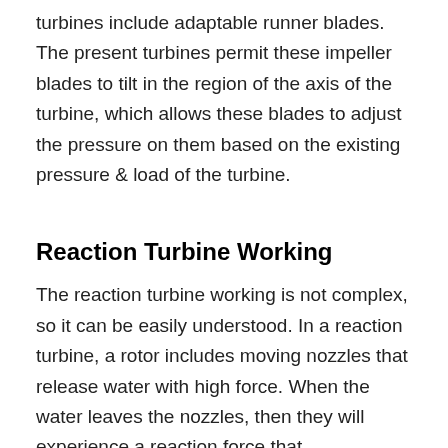turbines include adaptable runner blades. The present turbines permit these impeller blades to tilt in the region of the axis of the turbine, which allows these blades to adjust the pressure on them based on the existing pressure & load of the turbine.
Reaction Turbine Working
The reaction turbine working is not complex, so it can be easily understood. In a reaction turbine, a rotor includes moving nozzles that release water with high force. When the water leaves the nozzles, then they will experience a reaction force that